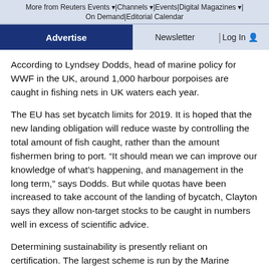More from Reuters Events | Channels | Events | Digital Magazines | On Demand | Editorial Calendar
Advertise | Newsletter | Log In
According to Lyndsey Dodds, head of marine policy for WWF in the UK, around 1,000 harbour porpoises are caught in fishing nets in UK waters each year.
The EU has set bycatch limits for 2019. It is hoped that the new landing obligation will reduce waste by controlling the total amount of fish caught, rather than the amount fishermen bring to port. “It should mean we can improve our knowledge of what’s happening, and management in the long term,” says Dodds. But while quotas have been increased to take account of the landing of bycatch, Clayton says they allow non-target stocks to be caught in numbers well in excess of scientific advice.
Determining sustainability is presently reliant on certification. The largest scheme is run by the Marine Stewardship Council – and is relied upon by many